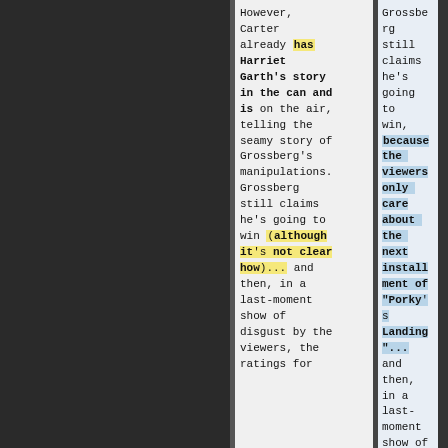However, Carter already has Harriet Garth's story in the can and is on the air, telling the seamy story of Grossberg's manipulations. Grossberg still claims he's going to win (although it's not clear how)... and then, in a last-moment show of disgust by the viewers, the ratings for
Grossberg still claims he's going to win, because the viewers only care about the next installment of "Porky's Landing"... and then, in a last-moment show of disgust by the viewers, the ratings for another network, Network 85, soar and their candidate J. Rivers is